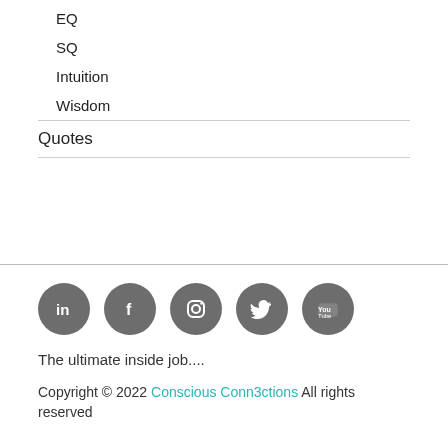EQ
SQ
Intuition
Wisdom
Quotes
[Figure (other): Social media icons: LinkedIn, Facebook, Instagram, Twitter, YouTube — gray circular buttons]
The ultimate inside job....
Copyright © 2022 Conscious Conn3ctions All rights reserved